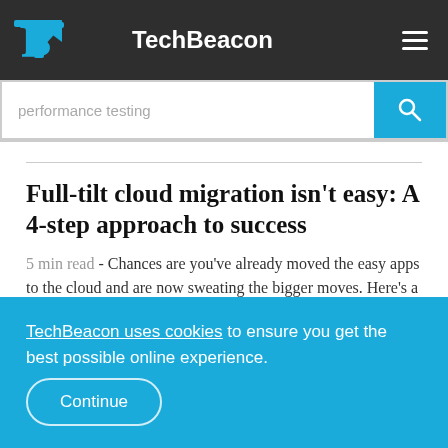TechBeacon
performance testing
Full-tilt cloud migration isn't easy: A 4-step approach to success
5 min read - Chances are you've already moved the easy apps to the cloud and are now sweating the bigger moves. Here's a four-stage
TechBeacon uses cookies to ensure you get the best possible online experience. Continue